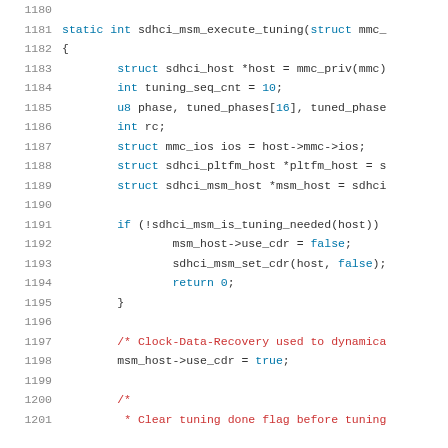[Figure (screenshot): Source code listing of C function sdhci_msm_execute_tuning, lines 1180-1201, showing variable declarations, an if block checking sdhci_msm_is_tuning_needed, and comments about Clock-Data-Recovery. Line numbers shown on left in gray, keywords in blue, comments in red.]